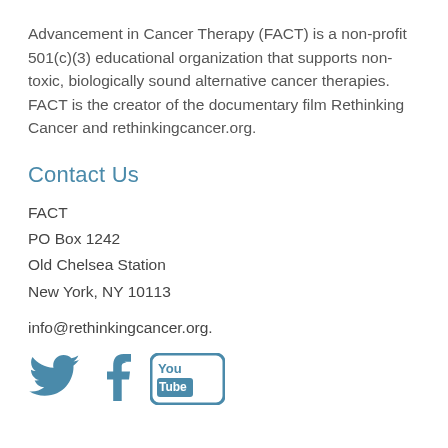Advancement in Cancer Therapy (FACT) is a non-profit 501(c)(3) educational organization that supports non-toxic, biologically sound alternative cancer therapies. FACT is the creator of the documentary film Rethinking Cancer and rethinkingcancer.org.
Contact Us
FACT
PO Box 1242
Old Chelsea Station
New York, NY 10113
info@rethinkingcancer.org.
[Figure (infographic): Social media icons: Twitter bird, Facebook f, and YouTube logo in teal/blue color]